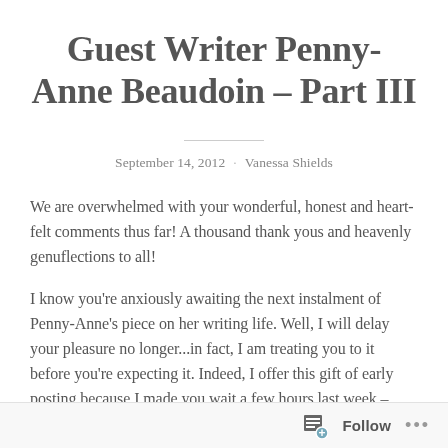Guest Writer Penny-Anne Beaudoin – Part III
September 14, 2012 · Vanessa Shields
We are overwhelmed with your wonderful, honest and heart-felt comments thus far! A thousand thank yous and heavenly genuflections to all!
I know you're anxiously awaiting the next instalment of Penny-Anne's piece on her writing life. Well, I will delay your pleasure no longer...in fact, I am treating you to it before you're expecting it. Indeed, I offer this gift of early posting because I made you wait a few hours last week –
Follow ···